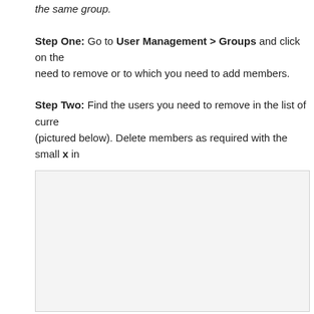the same group.
Step One: Go to User Management > Groups and click on the need to remove or to which you need to add members.
Step Two: Find the users you need to remove in the list of curre (pictured below). Delete members as required with the small x in
[Figure (screenshot): Screenshot placeholder showing a light gray box representing a UI screenshot]
Step Three: Confirm that you want to remove this user from this